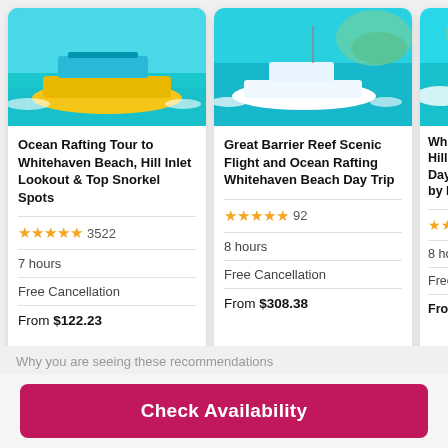[Figure (photo): Yellow ocean raft boat with passengers on turquoise water]
Ocean Rafting Tour to Whitehaven Beach, Hill Inlet Lookout & Top Snorkel Spots
★★★★★ 3522
7 hours
Free Cancellation
From $122.23
[Figure (photo): White yacht on turquoise water near tropical island]
Great Barrier Reef Scenic Flight and Ocean Rafting Whitehaven Beach Day Trip
★★★★★ 92
8 hours
Free Cancellation
From $308.38
[Figure (photo): Partial view of third tour card with boat on turquoise water]
Whit... Hill In... Day ... by Hi...
★★ ...
8 ho...
Free ...
From ...
Why you are seeing these recommendations
Check Availability